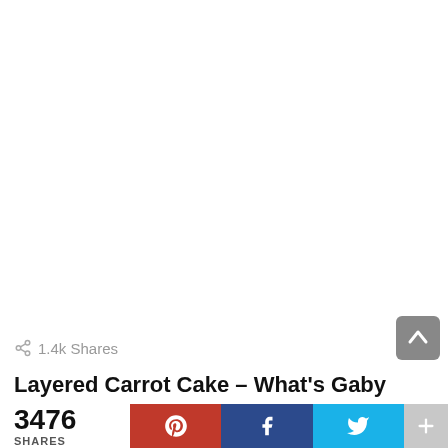[Figure (other): Large white/blank image area at top of page]
1.4k Shares
Layered Carrot Cake – What's Gaby
3476 SHARES